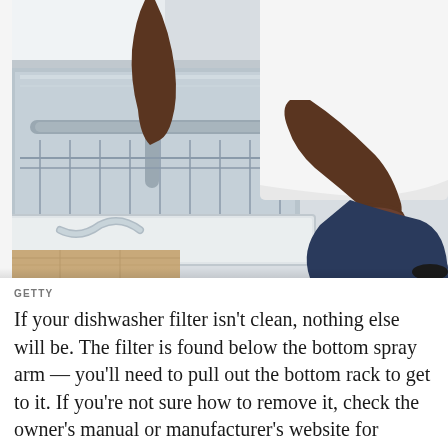[Figure (photo): A person kneeling on a light wood floor in front of an open dishwasher, reaching inside to examine or clean the interior. The dishwasher door is open flat and the interior is visible with spray arms and stainless steel components. The person is wearing dark jeans, a white top, and black flat shoes.]
GETTY
If your dishwasher filter isn't clean, nothing else will be. The filter is found below the bottom spray arm — you'll need to pull out the bottom rack to get to it. If you're not sure how to remove it, check the owner's manual or manufacturer's website for details. To eliminate pesky spots on future loads: